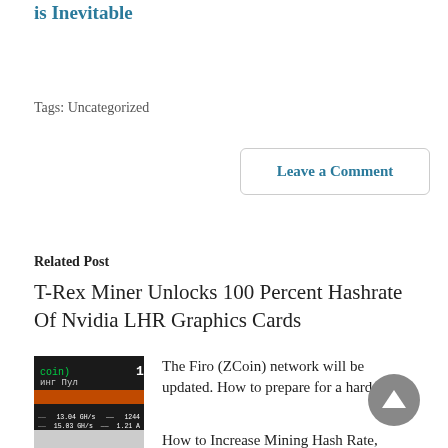is Inevitable
Tags: Uncategorized
Leave a Comment
Related Post
T-Rex Miner Unlocks 100 Percent Hashrate Of Nvidia LHR Graphics Cards
[Figure (screenshot): Screenshot of mining software showing ZCoin/Firo mining pool interface with orange bar and stats]
The Firo (ZCoin) network will be updated. How to prepare for a hard fork?
How to Increase Mining Hash Rate,